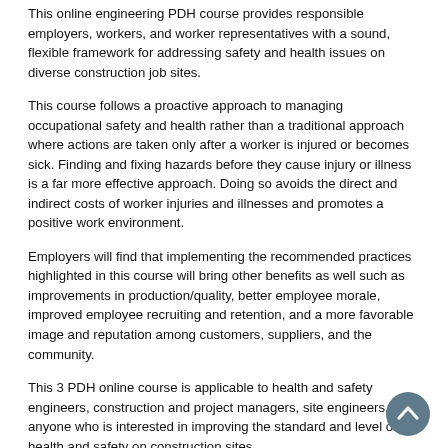This online engineering PDH course provides responsible employers, workers, and worker representatives with a sound, flexible framework for addressing safety and health issues on diverse construction job sites.
This course follows a proactive approach to managing occupational safety and health rather than a traditional approach where actions are taken only after a worker is injured or becomes sick. Finding and fixing hazards before they cause injury or illness is a far more effective approach. Doing so avoids the direct and indirect costs of worker injuries and illnesses and promotes a positive work environment.
Employers will find that implementing the recommended practices highlighted in this course will bring other benefits as well such as improvements in production/quality, better employee morale, improved employee recruiting and retention, and a more favorable image and reputation among customers, suppliers, and the community.
This 3 PDH online course is applicable to health and safety engineers, construction and project managers, site engineers, and anyone who is interested in improving the standard and level of health and safety on construction sites.
Learning Objectives